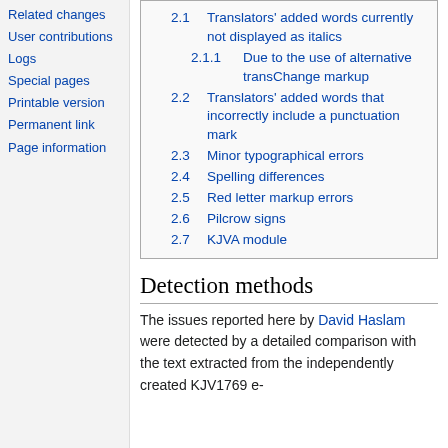Related changes
User contributions
Logs
Special pages
Printable version
Permanent link
Page information
| 2.1 | Translators' added words currently not displayed as italics |
| 2.1.1 | Due to the use of alternative transChange markup |
| 2.2 | Translators' added words that incorrectly include a punctuation mark |
| 2.3 | Minor typographical errors |
| 2.4 | Spelling differences |
| 2.5 | Red letter markup errors |
| 2.6 | Pilcrow signs |
| 2.7 | KJVA module |
Detection methods
The issues reported here by David Haslam were detected by a detailed comparison with the text extracted from the independently created KJV1769 e-